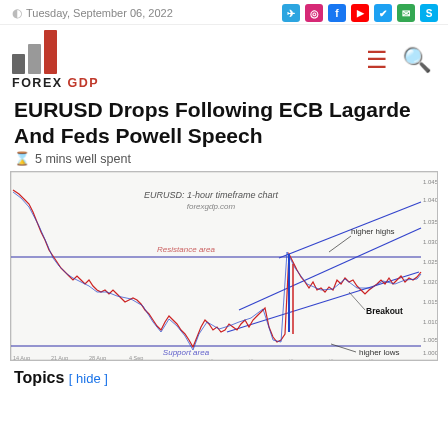Tuesday, September 06, 2022
[Figure (logo): FOREX GDP logo with bar chart icon and social media icons]
EURUSD Drops Following ECB Lagarde And Feds Powell Speech
⌛ 5 mins well spent
[Figure (continuous-plot): EURUSD 1-hour timeframe chart from forexgdp.com showing a downtrend followed by a rising channel (higher highs and higher lows), with a horizontal resistance area, support area, and a breakout annotation.]
Topics  [ hide ]